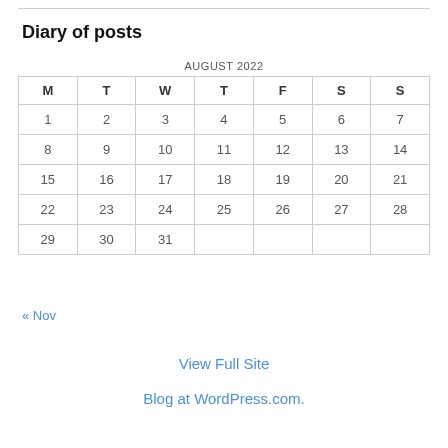Diary of posts
| M | T | W | T | F | S | S |
| --- | --- | --- | --- | --- | --- | --- |
| 1 | 2 | 3 | 4 | 5 | 6 | 7 |
| 8 | 9 | 10 | 11 | 12 | 13 | 14 |
| 15 | 16 | 17 | 18 | 19 | 20 | 21 |
| 22 | 23 | 24 | 25 | 26 | 27 | 28 |
| 29 | 30 | 31 |  |  |  |  |
« Nov
View Full Site
Blog at WordPress.com.